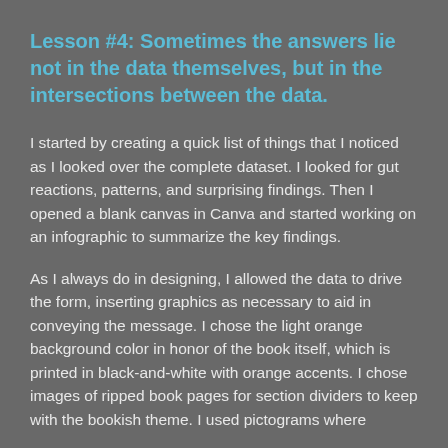Lesson #4: Sometimes the answers lie not in the data themselves, but in the intersections between the data.
I started by creating a quick list of things that I noticed as I looked over the complete dataset. I looked for gut reactions, patterns, and surprising findings. Then I opened a blank canvas in Canva and started working on an infographic to summarize the key findings.
As I always do in designing, I allowed the data to drive the form, inserting graphics as necessary to aid in conveying the message. I chose the light orange background color in honor of the book itself, which is printed in black-and-white with orange accents. I chose images of ripped book pages for section dividers to keep with the bookish theme. I used pictograms where